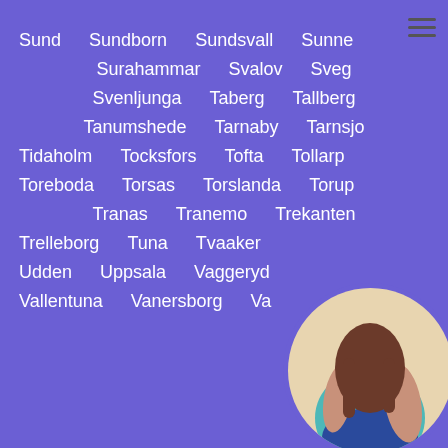Sund  Sundborn  Sundsvall  Sunne
Surahammar  Svalov  Sveg
Svenljunga  Taberg  Tallberg
Tanumshede  Tarnaby  Tarnsjo
Tidaholm  Tocksfors  Tofta  Tollarp
Toreboda  Torsas  Torslanda  Torup
Tranas  Tranemo  Trekanten
Trelleborg  Tuna  Tvaaker
Udden  Uppsala  Vaggeryd
Vallentuna  Vanersborg  Va...
[Figure (photo): Circular avatar photo of a person in teal/blue outfit, positioned bottom-right corner]